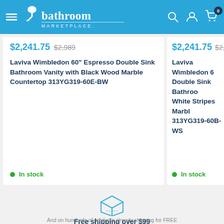Bathroom Marketplace
$2,241.75  $2,989  Laviva Wimbledon 60" Espresso Double Sink Bathroom Vanity with Black Wood Marble Countertop 313YG319-60E-BW  In stock
$2,241.75  $2,98...  Laviva Wimbledon 60... Double Sink Bathroo... White Stripes Marbl... 313YG319-60B-WS  In stock
[Figure (illustration): Package/box shipping icon outline]
Free shipping over $99
And on hundreds of products already shipping for FREE